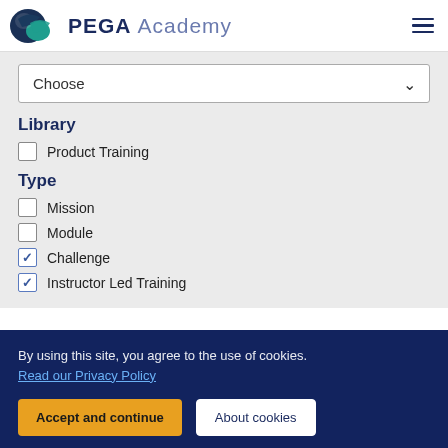PEGA Academy
Library
Product Training (unchecked)
Type
Mission (unchecked)
Module (unchecked)
Challenge (checked)
Instructor Led Training (checked)
By using this site, you agree to the use of cookies. Read our Privacy Policy
Accept and continue | About cookies